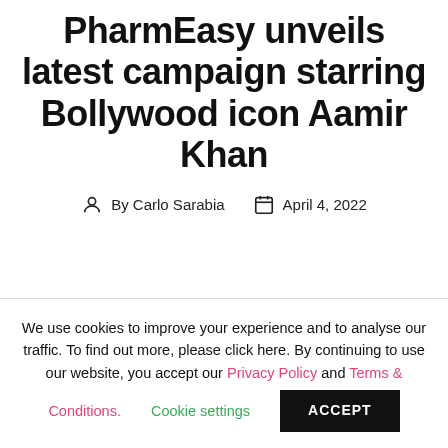PharmEasy unveils latest campaign starring Bollywood icon Aamir Khan
By Carlo Sarabia   April 4, 2022
We use cookies to improve your experience and to analyse our traffic. To find out more, please click here. By continuing to use our website, you accept our Privacy Policy and Terms & Conditions.   Cookie settings   ACCEPT